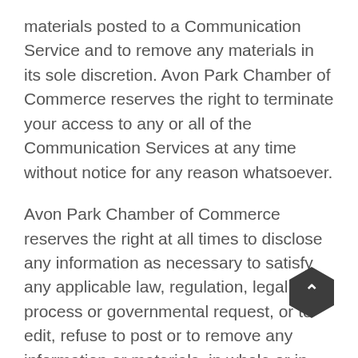materials posted to a Communication Service and to remove any materials in its sole discretion. Avon Park Chamber of Commerce reserves the right to terminate your access to any or all of the Communication Services at any time without notice for any reason whatsoever.
Avon Park Chamber of Commerce reserves the right at all times to disclose any information as necessary to satisfy any applicable law, regulation, legal process or governmental request, or to edit, refuse to post or to remove any information or materials, in whole or in part, in Avon Park Chamber of Commerce's sole discretion.
Always use caution when giving out any personally identifying information about yourself or your children in any Communication Service. Avon Park Chamber of Commerce does not control or endorse the content,